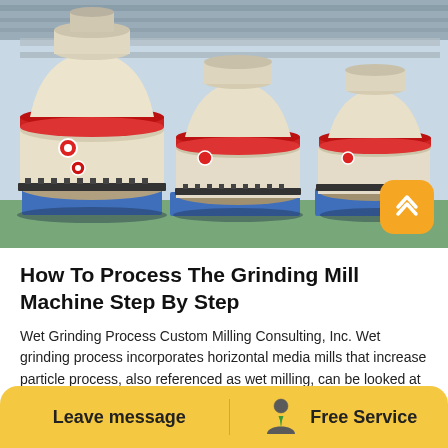[Figure (photo): Industrial grinding mill machines in a factory — large white cylindrical grinding mill units with red accent rings, mounted on blue steel frames, arranged in a row inside a large manufacturing facility with a concrete floor.]
How To Process The Grinding Mill Machine Step By Step
Wet Grinding Process Custom Milling Consulting, Inc. Wet grinding process incorporates horizontal media mills that increase particle process, also referenced as wet milling, can be looked at as a series of steps or.
Leave message   Free Service